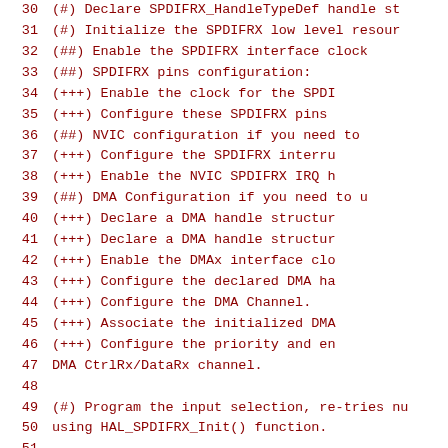30    (#) Declare SPDIFRX_HandleTypeDef handle st...
31    (#) Initialize the SPDIFRX low level resour...
32        (##) Enable the SPDIFRX interface clock...
33        (##) SPDIFRX pins configuration:
34            (+++) Enable the clock for the SPDI...
35            (+++) Configure these SPDIFRX pins...
36        (##) NVIC configuration if you need to...
37            (+++) Configure the SPDIFRX interru...
38            (+++) Enable the NVIC SPDIFRX IRQ h...
39        (##) DMA Configuration if you need to u...
40            (+++) Declare a DMA handle structur...
41            (+++) Declare a DMA handle structur...
42            (+++) Enable the DMAx interface clo...
43            (+++) Configure the declared DMA ha...
44            (+++) Configure the DMA Channel.
45            (+++) Associate the initialized DMA...
46            (+++) Configure the priority and en...
47                DMA CtrlRx/DataRx channel.
48
49    (#) Program the input selection, re-tries nu...
50        using HAL_SPDIFRX_Init() function.
51